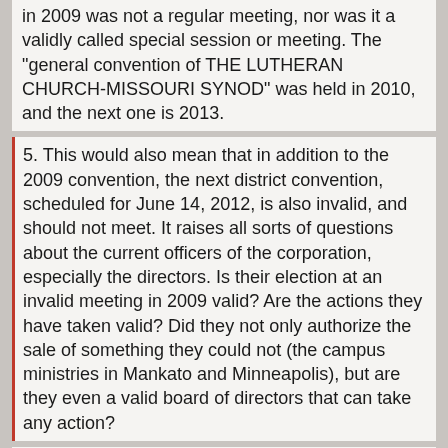in 2009 was not a regular meeting, nor was it a validly called special session or meeting.  The "general convention of THE LUTHERAN CHURCH-MISSOURI SYNOD" was held in 2010, and the next one is 2013.
5. This would also mean that in addition to the 2009 convention, the next district convention, scheduled for June 14, 2012, is also invalid, and should not meet.  It raises all sorts of questions about the current officers of the corporation, especially the directors.  Is their election at an invalid meeting in 2009 valid?  Are the actions they have taken valid?  Did they not only authorize the sale of something they could not (the campus ministries in Mankato and Minneapolis), but are they even a valid board of directors that can take any action?
6. It also calls into further question the one responsibility that the presiding officer of the convention does have in the process to amend articles of incorporation, that they must be "certified by the presiding officer".  If the district officer is making that claim for these 2007 articles (and he appears to be), then he has certified language that likely was never